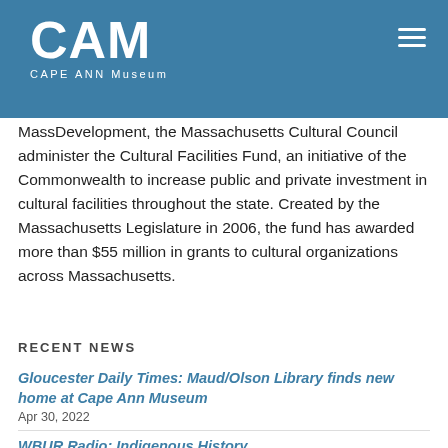CAM – CAPE ANN Museum
on Rockport's Thacher Island when it was installed on the island in 1861.
MassDevelopment, the Massachusetts Cultural Council administer the Cultural Facilities Fund, an initiative of the Commonwealth to increase public and private investment in cultural facilities throughout the state. Created by the Massachusetts Legislature in 2006, the fund has awarded more than $55 million in grants to cultural organizations across Massachusetts.
RECENT NEWS
Gloucester Daily Times: Maud/Olson Library finds new home at Cape Ann Museum
Apr 30, 2022
WBUR Radio: Indigenous History
Apr 27, 2022
Cape Ann COSMOS: New Art Exhibitions
Apr 27, 2022